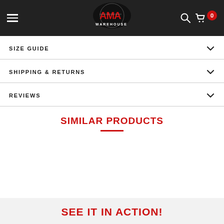AMA Warehouse
SIZE GUIDE
SHIPPING & RETURNS
REVIEWS
SIMILAR PRODUCTS
SEE IT IN ACTION!